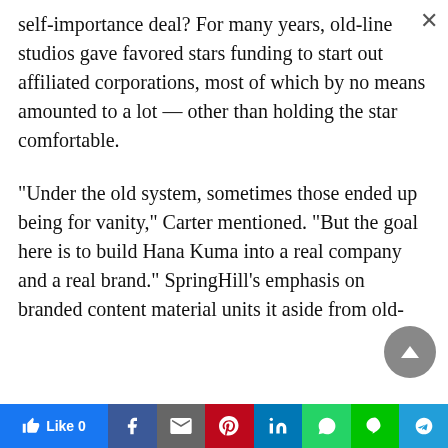self-importance deal? For many years, old-line studios gave favored stars funding to start out affiliated corporations, most of which by no means amounted to a lot — other than holding the star comfortable.
“Under the old system, sometimes those ended up being for vanity,” Carter mentioned. “But the goal here is to build Hana Kuma into a real company and a real brand.” SpringHill’s emphasis on branded content material units it aside from old-